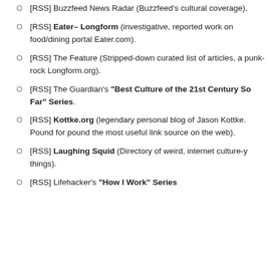[RSS] Buzzfeed News Radar (Buzzfeed's cultural coverage).
[RSS] Eater– Longform (investigative, reported work on food/dining portal Eater.com).
[RSS] The Feature (Stripped-down curated list of articles, a punk-rock Longform.org).
[RSS] The Guardian's "Best Culture of the 21st Century So Far" Series.
[RSS] Kottke.org (legendary personal blog of Jason Kottke. Pound for pound the most useful link source on the web).
[RSS] Laughing Squid (Directory of weird, internet culture-y things).
[RSS] Lifehacker's "How I Work" Series